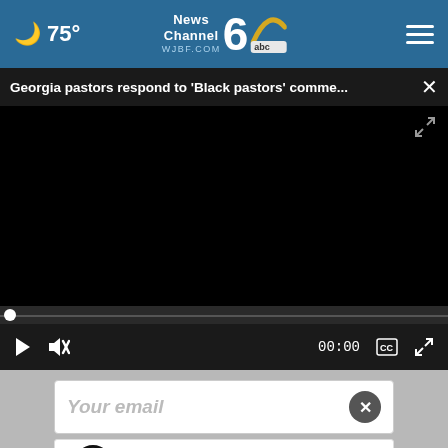75° News Channel 6 abc WJBF.COM
Georgia pastors respond to 'Black pastors' comme... ×
[Figure (screenshot): Black video player area (video not loaded)]
00:00
Your email
[Figure (infographic): Advertisement: Ashburn OPEN 7:30AM–6PM, 43781 Parkhurst Plaza, Ashburn - Tires Auto logo]